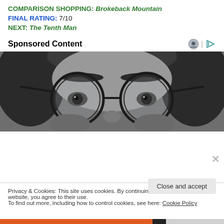COMPARISON SHOPPING: Brokeback Mountain
FINAL RATING: 7/10
NEXT: The Tenth Man
Sponsored Content
[Figure (photo): Black and white close-up photo of a person with round glasses, showing eyes and eyebrows, with long hair on the sides.]
Privacy & Cookies: This site uses cookies. By continuing to use this website, you agree to their use.
To find out more, including how to control cookies, see here: Cookie Policy
Close and accept